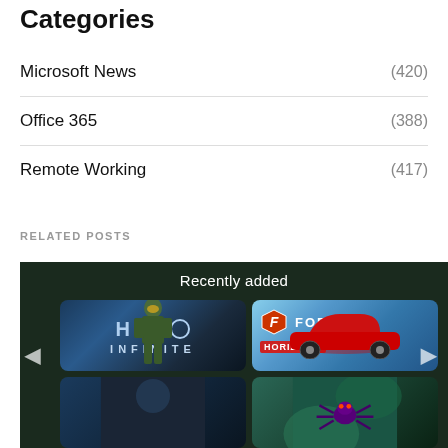Categories
Microsoft News (420)
Office 365 (388)
Remote Working (417)
RELATED POSTS
[Figure (screenshot): Screenshot of an Xbox Game Pass interface showing 'Recently added' section with game tiles including Halo Infinite and Forza Horizon 5, with navigation arrows on the sides.]